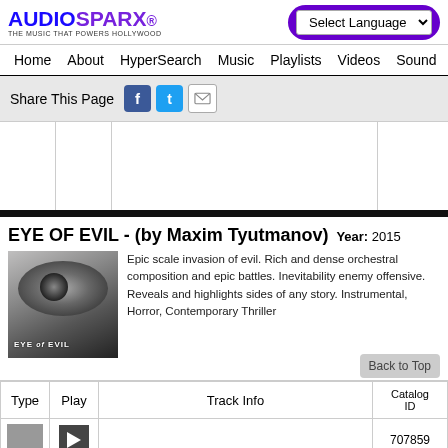AUDIOSPARX - THE MUSIC THAT POWERS HOLLYWOOD | Select Language
Home  About  HyperSearch  Music  Playlists  Videos  Sound
Share This Page
EYE OF EVIL - (by Maxim Tyutmanov)  Year: 2015
Epic scale invasion of evil. Rich and dense orchestral composition and epic battles. Inevitability enemy offensive. Reveals and highlights sides of any story. Instrumental, Horror, Contemporary Thriller
| Type | Play | Track Info | Catalog ID |
| --- | --- | --- | --- |
|  |  |  | 707859 |